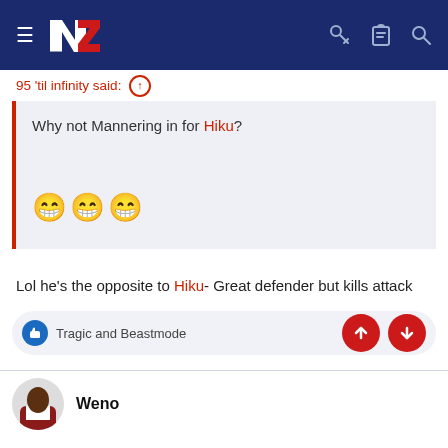NZ (logo) — navigation header with hamburger menu, key icon, clipboard icon, search icon
95 'til infinity said: ↑
Why not Mannering in for Hiku? 😁😁😁
Lol he's the opposite to Hiku- Great defender but kills attack
👍 Tragic and Beastmode
Weno